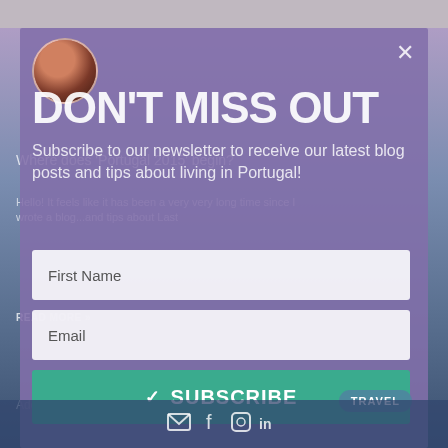[Figure (screenshot): A blog website screenshot showing a newsletter subscription popup/modal overlay on a scenic Portugal travel blog. Background shows mountain/landscape imagery with purple-blue tones. The popup has an avatar photo, DON'T MISS OUT heading, subscription form with First Name and Email fields, and a green Subscribe button.]
DON'T MISS OUT
Subscribe to our newsletter to receive our latest blog posts and tips about living in Portugal!
Where does 'Portugal 2015' begin?
Hello! It feels like it has been a very very long time since I
READ MORE »
Add your comments
First Name
Email
✓ SUBSCRIBE
TRAVEL